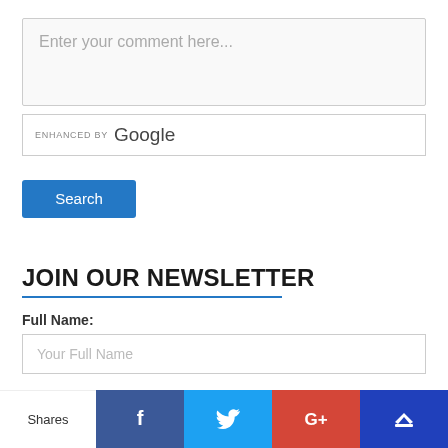Enter your comment here...
ENHANCED BY Google
Search
JOIN OUR NEWSLETTER
Full Name:
Your Full Name
Email address:
Shares